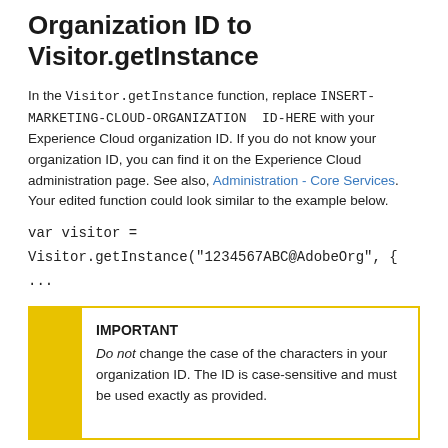Organization ID to Visitor.getInstance
In the Visitor.getInstance function, replace INSERT-MARKETING-CLOUD-ORGANIZATION ID-HERE with your Experience Cloud organization ID. If you do not know your organization ID, you can find it on the Experience Cloud administration page. See also, Administration - Core Services. Your edited function could look similar to the example below.
var visitor =
Visitor.getInstance("1234567ABC@AdobeOrg", { ...
IMPORTANT
Do not change the case of the characters in your organization ID. The ID is case-sensitive and must be used exactly as provided.